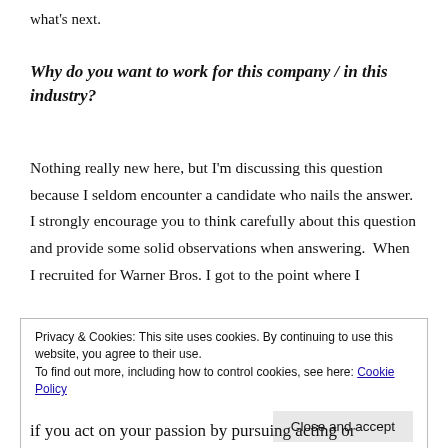what's next.
Why do you want to work for this company / in this industry?
Nothing really new here, but I'm discussing this question because I seldom encounter a candidate who nails the answer.  I strongly encourage you to think carefully about this question and provide some solid observations when answering.  When I recruited for Warner Bros. I got to the point where I
Privacy & Cookies: This site uses cookies. By continuing to use this website, you agree to their use.
To find out more, including how to control cookies, see here: Cookie Policy
if you act on your passion by pursuing acting or